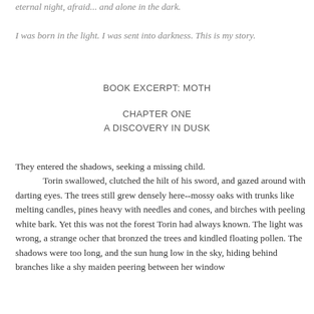eternal night, afraid... and alone in the dark.

I was born in the light. I was sent into darkness. This is my story.
BOOK EXCERPT: MOTH
CHAPTER ONE
A DISCOVERY IN DUSK
They entered the shadows, seeking a missing child.
	Torin swallowed, clutched the hilt of his sword, and gazed around with darting eyes. The trees still grew densely here--mossy oaks with trunks like melting candles, pines heavy with needles and cones, and birches with peeling white bark. Yet this was not the forest Torin had always known. The light was wrong, a strange ocher that bronzed the trees and kindled floating pollen. The shadows were too long, and the sun hung low in the sky, hiding behind branches like a shy maiden peering between her window